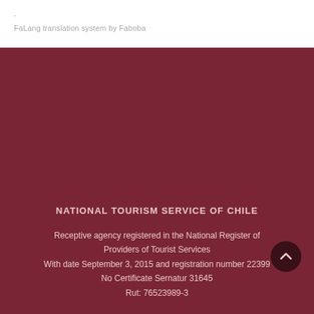·
FaLang translation system by Faboba
NATIONAL TOURISM SERVICE OF CHILE
Receptive agency registered in the National Register of Providers of Tourist Services
With date September 3, 2015 and registration number 22399
No Certificate Sernatur 31645
Rut: 76523989-3